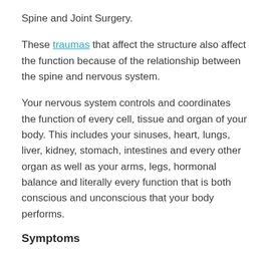Spine and Joint Surgery.
These traumas that affect the structure also affect the function because of the relationship between the spine and nervous system.
Your nervous system controls and coordinates the function of every cell, tissue and organ of your body. This includes your sinuses, heart, lungs, liver, kidney, stomach, intestines and every other organ as well as your arms, legs, hormonal balance and literally every function that is both conscious and unconscious that your body performs.
Symptoms